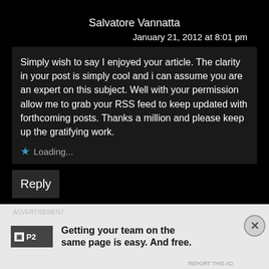Salvatore Vannatta
January 21, 2012 at 8:01 pm
Simply wish to say I enjoyed your article. The clarity in your post is simply cool and i can assume you are an expert on this subject. Well with your permission allow me to grab your RSS feed to keep updated with forthcoming posts. Thanks a million and please keep up the gratifying work.
Loading...
Reply
Getting your team on the same page is easy. And free.